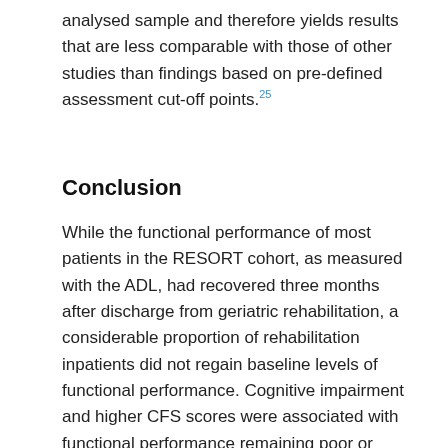analysed sample and therefore yields results that are less comparable with those of other studies than findings based on pre-defined assessment cut-off points.25
Conclusion
While the functional performance of most patients in the RESORT cohort, as measured with the ADL, had recovered three months after discharge from geriatric rehabilitation, a considerable proportion of rehabilitation inpatients did not regain baseline levels of functional performance. Cognitive impairment and higher CFS scores were associated with functional performance remaining poor or deteriorating, indicating that assessing cognition and frailty at admission is important, and could assist with the design of rehabilitation interventions and discharge planning, optimising outcomes for patients.